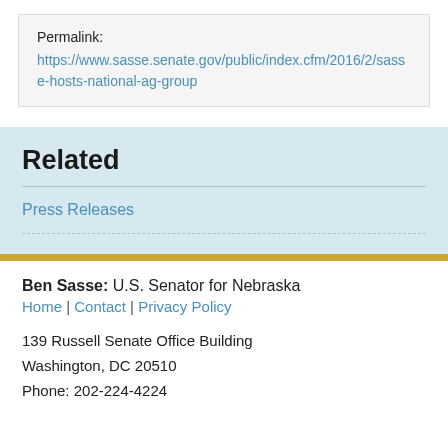Permalink:
https://www.sasse.senate.gov/public/index.cfm/2016/2/sasse-hosts-national-ag-group
Related
Press Releases
Ben Sasse: U.S. Senator for Nebraska
Home | Contact | Privacy Policy

139 Russell Senate Office Building
Washington, DC 20510
Phone: 202-224-4224